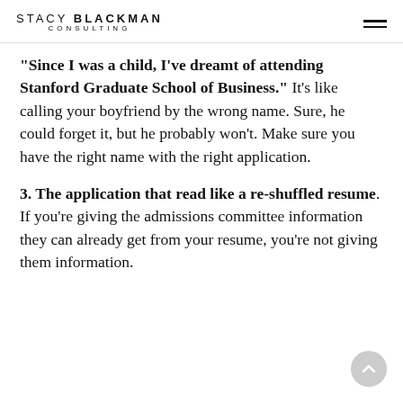STACY BLACKMAN CONSULTING
“Since I was a child, I’ve dreamt of attending Stanford Graduate School of Business.”  It’s like calling your boyfriend by the wrong name. Sure, he could forget it, but he probably won’t.  Make sure you have the right name with the right application.
3.  The application that read like a re-shuffled resume.  If you’re giving the admissions committee information they can already get from your resume, you’re not giving them information.